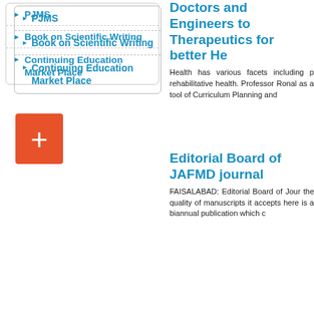PJMS
Book on Scientific Writing
Continuing Education Market Place
Doctors and Engineers to Therapeutics for better He...
Health has various facets including p rehabilitative health. Professor Ronal as a tool of Curriculum Planning and
Editorial Board of JAFMD journal
FAISALABAD: Editorial Board of Jour the quality of manuscripts it accepts here is a biannual publication which c
-
Teac
HCPs should make use of Research Forum
FAISALABAD: PharmEvo Research professionals regarding Clinical Rese